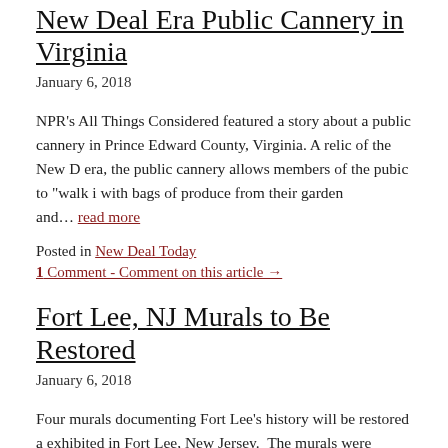New Deal Era Public Cannery in Virginia
January 6, 2018
NPR's All Things Considered featured a story about a public cannery in Prince Edward County, Virginia. A relic of the New Deal era, the public cannery allows members of the pubic to "walk in" with bags of produce from their garden and… read more
Posted in New Deal Today
1 Comment - Comment on this article →
Fort Lee, NJ Murals to Be Restored
January 6, 2018
Four murals documenting Fort Lee's history will be restored and exhibited in Fort Lee, New Jersey.  The murals were painted by Henry Schnakenberg and displayed in the city's post office, sh…